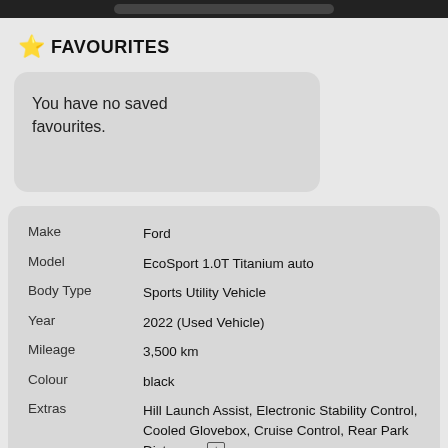⭐ FAVOURITES
You have no saved favourites.
| Field | Value |
| --- | --- |
| Make | Ford |
| Model | EcoSport 1.0T Titanium auto |
| Body Type | Sports Utility Vehicle |
| Year | 2022 (Used Vehicle) |
| Mileage | 3,500 km |
| Colour | black |
| Extras | Hill Launch Assist, Electronic Stability Control, Cooled Glovebox, Cruise Control, Rear Park Distanc… ⊞ |